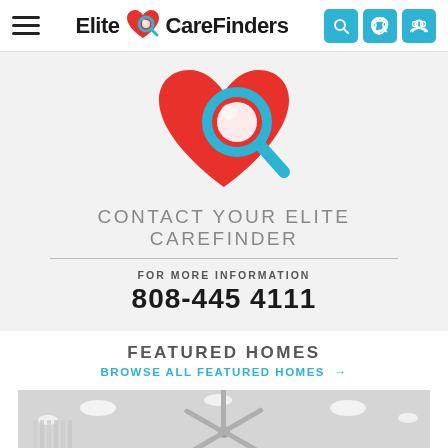Elite CareFinders
[Figure (logo): Elite CareFinders logo: red heart with blue magnifying glass icon]
CONTACT YOUR ELITE CAREFINDER
FOR MORE INFORMATION
808-445 4111
FEATURED HOMES
BROWSE ALL FEATURED HOMES →
[Figure (photo): Interior photo of a modern living space with ceiling fan, recessed lighting, white vertical blinds, and plants]